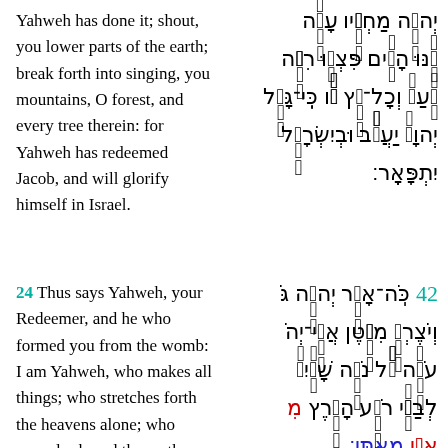Yahweh has done it; shout, you lower parts of the earth; break forth into singing, you mountains, O forest, and every tree therein: for Yahweh has redeemed Jacob, and will glorify himself in Israel.
[Figure (other): Hebrew text block for Isaiah verse with diacritical marks, rendered right-to-left in multiple lines]
24 Thus says Yahweh, your Redeemer, and he who formed you from the womb: I am Yahweh, who makes all things; who stretches forth the heavens alone; who spreads abroad the earth
[Figure (other): Hebrew text block for verse 24 with colored letters (teal verse number, red and blue highlighted words)]